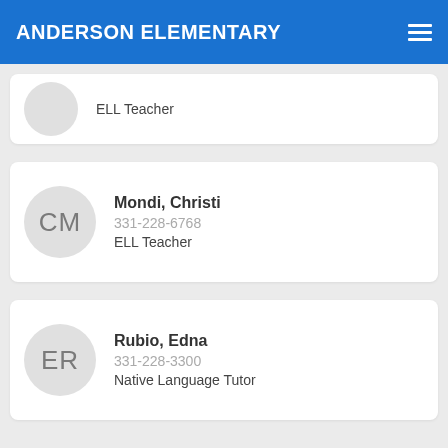ANDERSON ELEMENTARY
ELL Teacher
Mondi, Christi
331-228-6768
ELL Teacher
Rubio, Edna
331-228-3300
Native Language Tutor